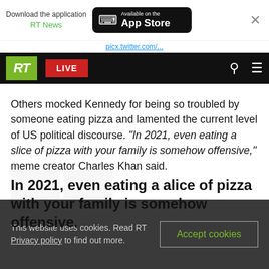[Figure (screenshot): App download banner for RT News app on App Store, with close (X) button]
[Figure (screenshot): RT website navigation bar with RT logo (green), LIVE button (red), search and menu icons on black background]
Others mocked Kennedy for being so troubled by someone eating pizza and lamented the current level of US political discourse. "In 2021, even eating a slice of pizza with your family is somehow offensive," meme creator Charles Khan said.
In 2021, even eating a alice of pizza with your family is somehow offensive.
This website uses cookies. Read RT Privacy policy to find out more.